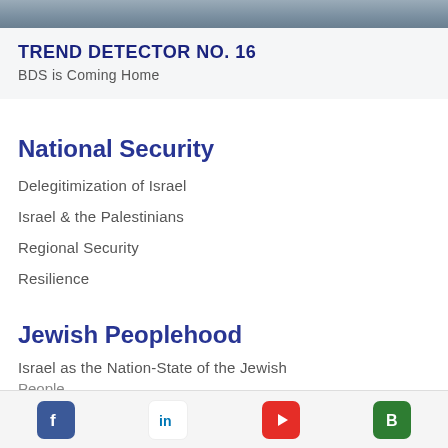[Figure (photo): Partial photo visible at top of card, showing people outdoors]
TREND DETECTOR NO. 16
BDS is Coming Home
National Security
Delegitimization of Israel
Israel & the Palestinians
Regional Security
Resilience
Jewish Peoplehood
Israel as the Nation-State of the Jewish People
[Figure (infographic): Footer social media icons bar: Facebook, LinkedIn, YouTube, Blog]